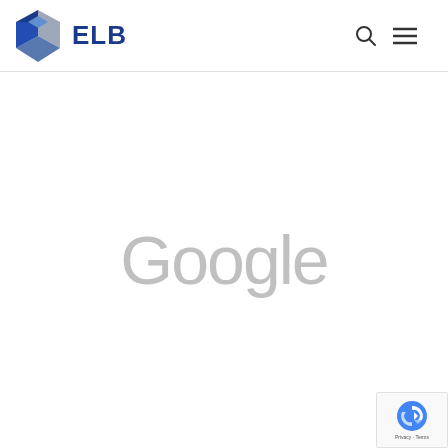[Figure (logo): ELB company logo with hexagonal blue and silver geometric icon and 'ELB' text in dark blue]
[Figure (logo): Google wordmark in light gray, centered on white background]
[Figure (logo): reCAPTCHA badge in bottom right corner with Privacy and Terms links]